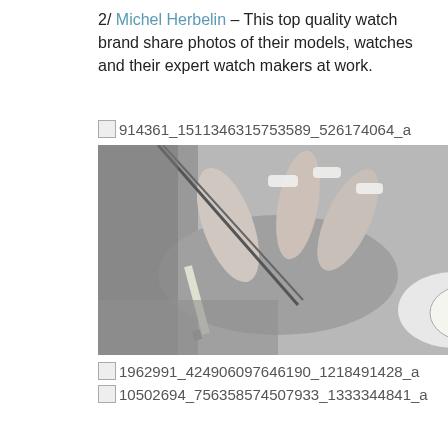2/ Michel Herbelin – This top quality watch brand share photos of their models, watches and their expert watch makers at work.
914361_1511346315753589_526174064_a
[Figure (photo): Black and white photo of watchmaker hands working with tools on a watch movement, including tweezers and a small watch dial visible.]
1962991_424906097646190_1218491428_a
10502694_756358574507933_1333344841_a
3/ Thomas Sabo – Our favourite charm maker showcases pretty products and industry events on their Instagram account.
[Figure (photo): Two images side by side at bottom: left is a green patterned background (dark green diagonal pattern), right shows a white background with bird/floral ink illustration.]